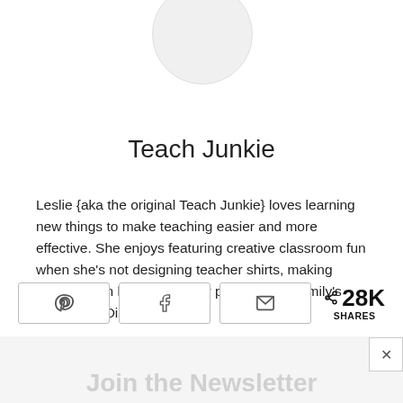[Figure (photo): Circular avatar / profile photo placeholder]
Teach Junkie
Leslie {aka the original Teach Junkie} loves learning new things to make teaching easier and more effective. She enjoys featuring creative classroom fun when she's not designing teacher shirts, making kindergarten lesson plans or planning her family's next trip to Disney World.
[Figure (infographic): Social share bar with Pinterest, Facebook, Email buttons and 28K SHARES count]
Join the Newsletter